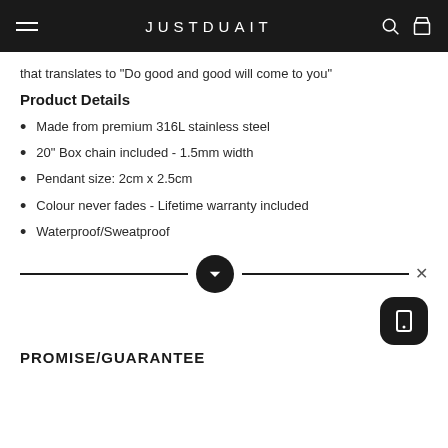JUSTDUAIT
that translates to "Do good and good will come to you"
Product Details
Made from premium 316L stainless steel
20" Box chain included - 1.5mm width
Pendant size: 2cm x 2.5cm
Colour never fades - Lifetime warranty included
Waterproof/Sweatproof
PROMISE/GUARANTEE